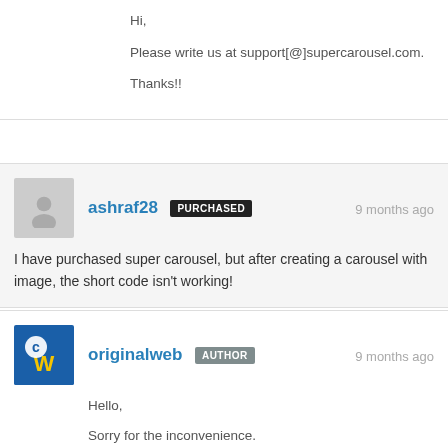Hi,

Please write us at support[@]supercarousel.com.

Thanks!!
ashraf28 PURCHASED 9 months ago
I have purchased super carousel, but after creating a carousel with image, the short code isn't working!
originalweb AUTHOR 9 months ago
Hello,

Sorry for the inconvenience.

Please register the purchase code and update the plugin. If still does not work, please write us at support[@]...